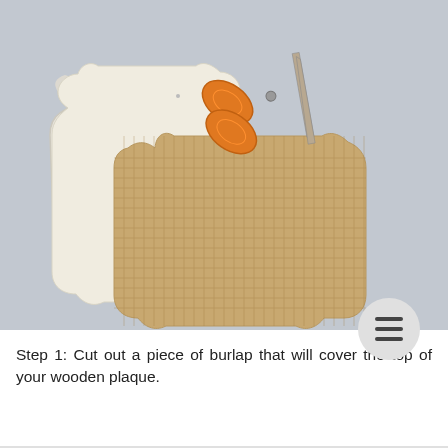[Figure (photo): Photo showing a white wooden plaque with decorative notched-corner shape, a burlap piece cut to the same shape on top, and orange-handled scissors in the upper right, all on a light gray background.]
Step 1: Cut out a piece of burlap that will cover the top of your wooden plaque.